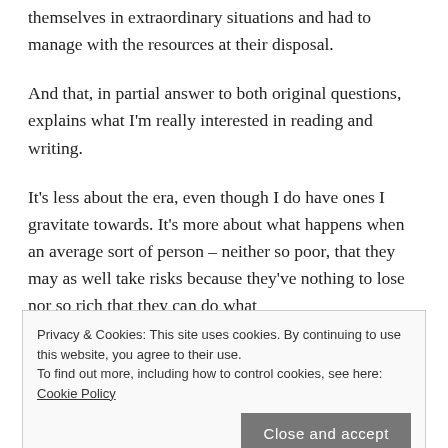themselves in extraordinary situations and had to manage with the resources at their disposal.
And that, in partial answer to both original questions, explains what I'm really interested in reading and writing.
It's less about the era, even though I do have ones I gravitate towards. It's more about what happens when an average sort of person – neither so poor, that they may as well take risks because they've nothing to lose nor so rich that they can do what
Privacy & Cookies: This site uses cookies. By continuing to use this website, you agree to their use.
To find out more, including how to control cookies, see here: Cookie Policy
Close and accept
constraint. Can they still have adventures? Can they